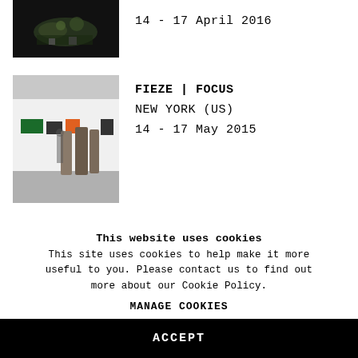[Figure (photo): Dark background photo of an art installation with plants and objects on a table]
14 - 17 April 2016
[Figure (photo): Gallery interior with colored signs on white wall and draped fabric sculptures on grey floor]
FIEZE | FOCUS
NEW YORK (US)
14 - 17 May 2015
This website uses cookies
This site uses cookies to help make it more useful to you. Please contact us to find out more about our Cookie Policy.
MANAGE COOKIES
ACCEPT